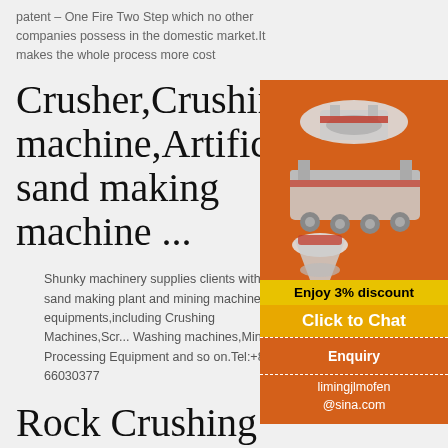patent – One Fire Two Step which no other companies possess in the domestic market.It makes the whole process more cost
Crusher,Crushing machine,Artificial sand making machine ...
Shunky machinery supplies clients with p... sand making plant and mining machinery equipments,including Crushing Machines,Scr... Washing machines,Mineral Processing Equipment and so on.Tel:+86-21-66030377
[Figure (photo): Industrial crushing and mining machinery equipment shown on orange background]
Enjoy 3% discount
Click to Chat
Enquiry
limingjlmofen@sina.com
Rock Crushing Sa... Making Machine for